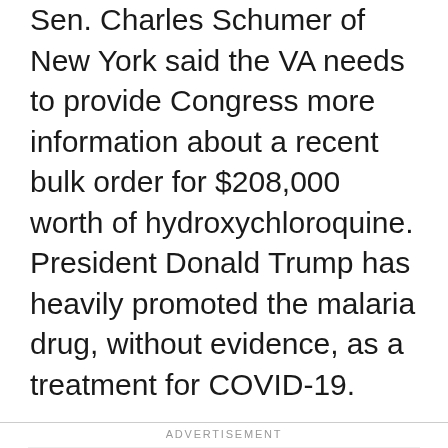Sen. Charles Schumer of New York said the VA needs to provide Congress more information about a recent bulk order for $208,000 worth of hydroxychloroquine. President Donald Trump has heavily promoted the malaria drug, without evidence, as a treatment for COVID-19.
ADVERTISEMENT
[Figure (other): Advertisement placeholder box with 'Ad' button label centered]